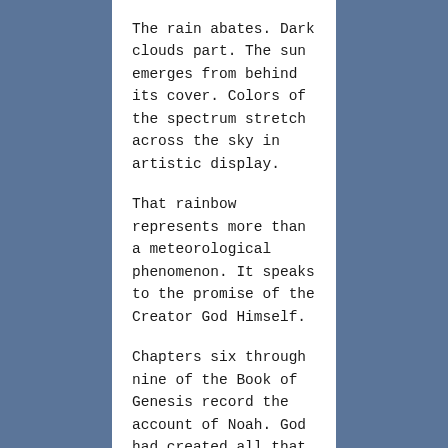The rain abates.  Dark clouds part.  The sun emerges from behind its cover.  Colors of the spectrum stretch across the sky in artistic display.
That rainbow represents more than a meteorological phenomenon.  It speaks to the promise of the Creator God Himself.
Chapters six through nine of the Book of Genesis record the account of Noah.  God had created all that is, including human beings (Gen. 1-2).  But people sinned by disobeying